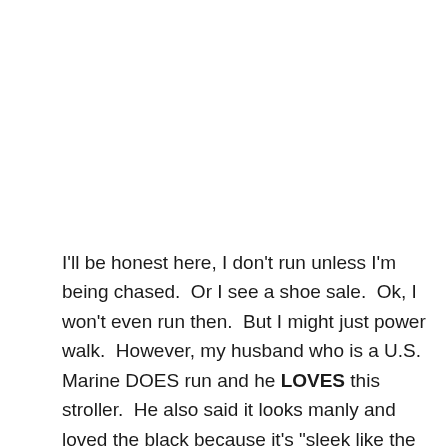I'll be honest here, I don't run unless I'm being chased.  Or I see a shoe sale.  Ok, I won't even run then.  But I might just power walk.  However, my husband who is a U.S. Marine DOES run and he LOVES this stroller.  He also said it looks manly and loved the black because it's "sleek like the Batmobile"  whatever that's supposed to mean.